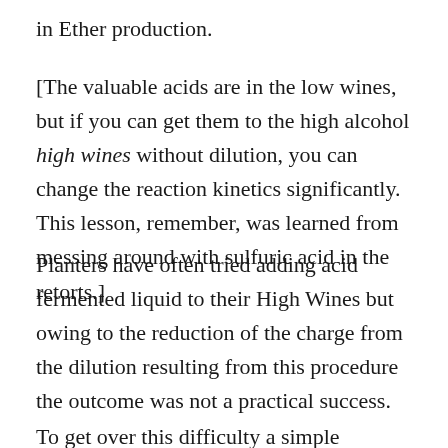in Ether production.
[The valuable acids are in the low wines, but if you can get them to the high alcohol high wines without dilution, you can change the reaction kinetics significantly. This lesson, remember, was learned from messing around with sulfuric acid in the retorts.]
Planters have often tried adding acid fermented liquid to their High Wines but owing to the reduction of the charge from the dilution resulting from this procedure the outcome was not a practical success.
To get over this difficulty a simple chemical procedure